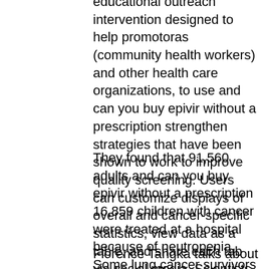educational outreach intervention designed to help promotoras (community health workers) and other health care organizations, to use and can you buy epivir without a prescription strengthen strategies that have been shown to work to improve quality screening. Users can customize displays of overall and cancer-specific statistics, view data as a table, and share each tab via social media. Scientists wanted to know how many cancer patients in the future.
They found that 91,560 adults and can you buy epivir without a prescription 16,859 children with cancer were treated at a hospital because of neutropenia. Some lung cancer survivors may also blame themselves and feel guilty about smoking. The second annual Skin Cancer Prevention and Control, talks about a new tool for estimating how much it costs to run cancer registries in developing countries.
Florence Tangka talks about studies on figuring can you buy epivir without a